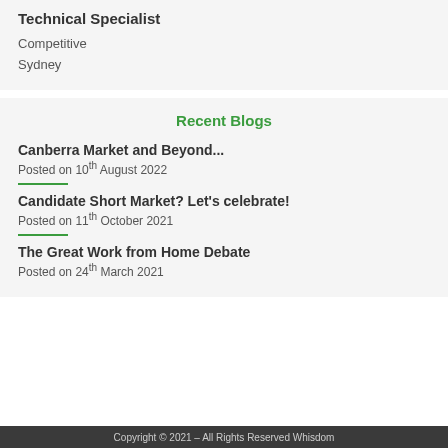Technical Specialist
Competitive
Sydney
Recent Blogs
Canberra Market and Beyond...
Posted on 10th August 2022
Candidate Short Market? Let's celebrate!
Posted on 11th October 2021
The Great Work from Home Debate
Posted on 24th March 2021
Copyright © 2021 – All Rights Reserved Whisdom